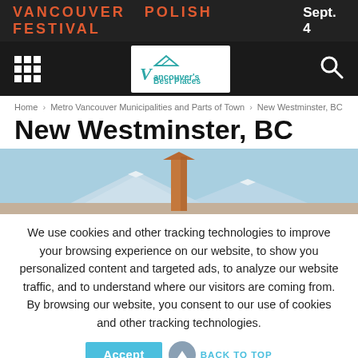VANCOUVER POLISH FESTIVAL  Sept. 4
[Figure (logo): Vancouver's Best Places logo with mountain icon]
Home › Metro Vancouver Municipalities and Parts of Town › New Westminster, BC
New Westminster, BC
[Figure (photo): Hero image of New Westminster BC showing a monument/obelisk against mountains and blue sky]
We use cookies and other tracking technologies to improve your browsing experience on our website, to show you personalized content and targeted ads, to analyze our website traffic, and to understand where our visitors are coming from. By browsing our website, you consent to our use of cookies and other tracking technologies.
Accept   BACK TO TOP